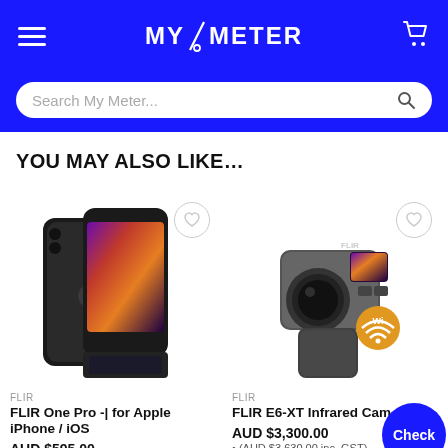MY/METER
Search My Meter...
YOU MAY ALSO LIKE...
[Figure (photo): FLIR One Pro thermal camera attachment for Apple iPhone/iOS]
FLIR
FLIR One Pro -| for Apple iPhone / iOS
AUD $595.00
[Figure (photo): FLIR E6-XT Infrared Camera with WiFi badge]
FLIR
FLIR E6-XT Infrared Camera
AUD $3,300.00
• (AUD $3,630.00 inc. GST)